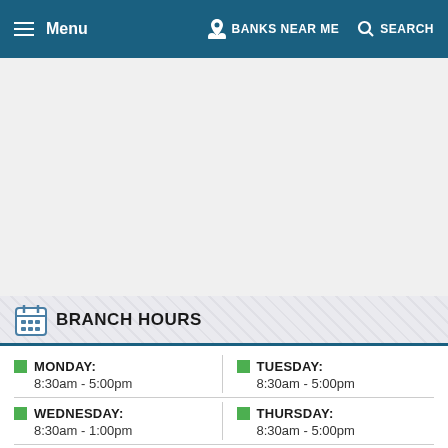Menu | BANKS NEAR ME | SEARCH
[Figure (screenshot): Map area placeholder (blank/white space)]
BRANCH HOURS
MONDAY: 8:30am - 5:00pm
TUESDAY: 8:30am - 5:00pm
WEDNESDAY: 8:30am - 1:00pm
THURSDAY: 8:30am - 5:00pm
FRIDAY: 8:30am - 5:30pm
SATURDAY: Closed